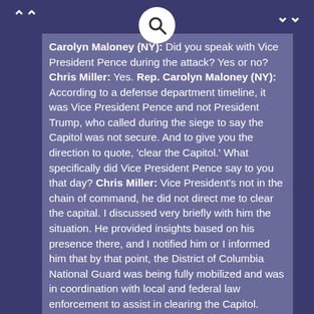Rep. Carolyn Maloney (NY): Did you speak with Vice President Pence during the attack? Yes or no? Chris Miller: Yes. Rep. Carolyn Maloney (NY): According to a defense department timeline, it was Vice President Pence and not President Trump, who called during the siege to say the Capitol was not secure. And to give you the direction to quote, 'clear the Capitol.' What specifically did Vice President Pence say to you that day? Chris Miller: Vice President's not in the chain of command, he did not direct me to clear the capital. I discussed very briefly with him the situation. He provided insights based on his presence there, and I notified him or I informed him that by that point, the District of Columbia National Guard was being fully mobilized and was in coordination with local and federal law enforcement to assist in clearing the Capitol.
1:05:28 Chris Miller: I think I'd like to modify my original assessment. Rep. Stephen Lynch (MA):